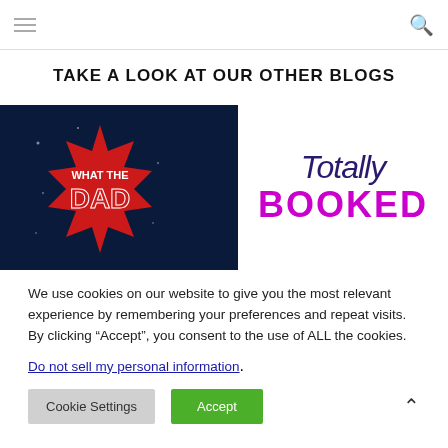Navigation bar with hamburger menu and search icon
TAKE A LOOK AT OUR OTHER BLOGS
[Figure (illustration): What the Dad blog thumbnail — dark navy background with red starburst badge showing 'WHAT THE DAD' in white text]
[Figure (illustration): Totally Booked blog thumbnail — white background with handwritten-style 'Totally' in dark purple and bold magenta 'BOOKED' text]
We use cookies on our website to give you the most relevant experience by remembering your preferences and repeat visits. By clicking “Accept”, you consent to the use of ALL the cookies.
Do not sell my personal information.
Cookie Settings   Accept